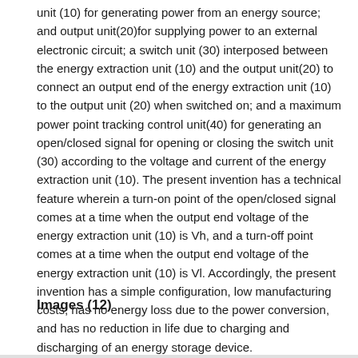unit (10) for generating power from an energy source; and output unit(20)for supplying power to an external electronic circuit; a switch unit (30) interposed between the energy extraction unit (10) and the output unit(20) to connect an output end of the energy extraction unit (10) to the output unit (20) when switched on; and a maximum power point tracking control unit(40) for generating an open/closed signal for opening or closing the switch unit (30) according to the voltage and current of the energy extraction unit (10). The present invention has a technical feature wherein a turn-on point of the open/closed signal comes at a time when the output end voltage of the energy extraction unit (10) is Vh, and a turn-off point comes at a time when the output end voltage of the energy extraction unit (10) is Vl. Accordingly, the present invention has a simple configuration, low manufacturing costs, has no energy loss due to the power conversion, and has no reduction in life due to charging and discharging of an energy storage device.
Images (12)